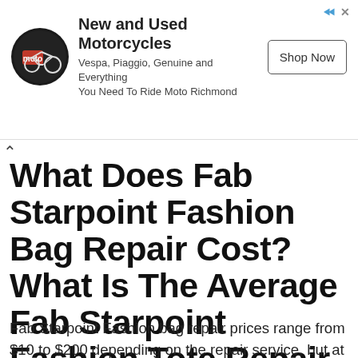[Figure (other): Advertisement banner for Moto Richmond showing a circular logo with a motorcycle icon, text 'New and Used Motorcycles', subtitle 'Vespa, Piaggio, Genuine and Everything You Need To Ride Moto Richmond', and a 'Shop Now' button.]
What Does Fab Starpoint Fashion Bag Repair Cost? What Is The Average Fab Starpoint Fashion Tote Repair Price?
Fab Starpoint Fashion bag repair prices range from $10 to $200 depending on the repair service, but at FavoriteFix we offer top